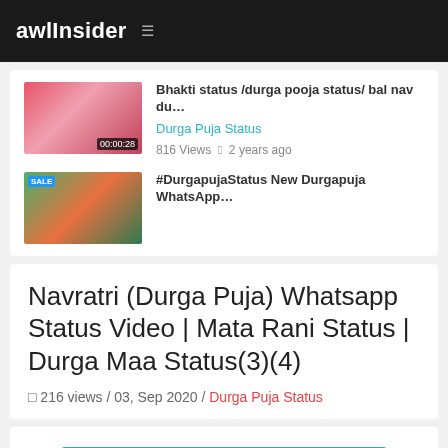awlInsider
Bhakti status /durga pooja status/ bal nav du... | Durga Puja Status | 816 Views  2 years ago
#DurgapujaStatus New Durgapuja WhatsApp...
Navratri (Durga Puja) Whatsapp Status Video | Mata Rani Status | Durga Maa Status(3)(4)
216 views / 03, Sep 2020 / Durga Puja Status
Share On WhatsApp